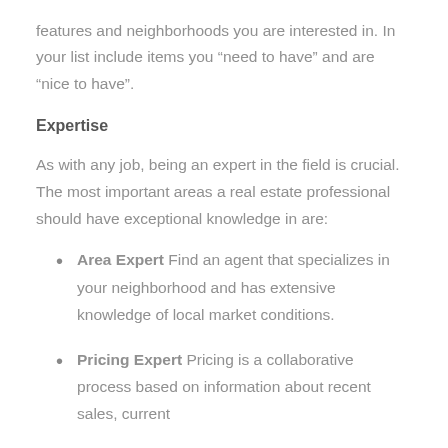features and neighborhoods you are interested in. In your list include items you “need to have” and are “nice to have”.
Expertise
As with any job, being an expert in the field is crucial. The most important areas a real estate professional should have exceptional knowledge in are:
Area Expert Find an agent that specializes in your neighborhood and has extensive knowledge of local market conditions.
Pricing Expert Pricing is a collaborative process based on information about recent sales, current